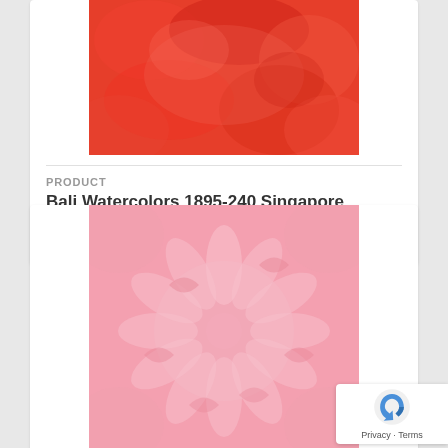[Figure (photo): Red/orange mottled watercolor fabric texture (Bali Watercolors 1895-240 Singapore)]
PRODUCT
Bali Watercolors 1895-240 Singapore
$11.99
[Figure (photo): Pink batik fabric with floral/leaf pattern (second product listing)]
PRODUCT